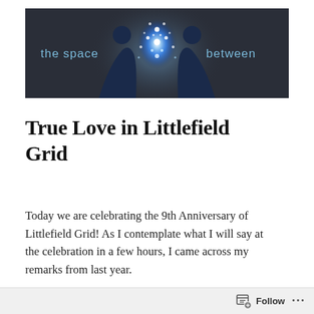[Figure (illustration): Dark banner image with two silhouetted figures facing each other, with glowing blue light particles between them. Text reads 'the space between' in light blue letters on the dark background.]
True Love in Littlefield Grid
Today we are celebrating the 9th Anniversary of Littlefield Grid! As I contemplate what I will say at the celebration in a few hours, I came across my remarks from last year.
Follow ...